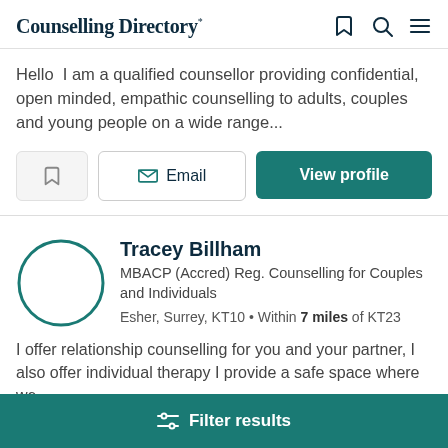Counselling Directory
Hello  I am a qualified counsellor providing confidential, open minded, empathic counselling to adults, couples and young people on a wide range...
Tracey Billham
MBACP (Accred) Reg. Counselling for Couples and Individuals
Esher, Surrey, KT10 • Within 7 miles of KT23
I offer relationship counselling for you and your partner, I also offer individual therapy I provide a safe space where we
Filter results